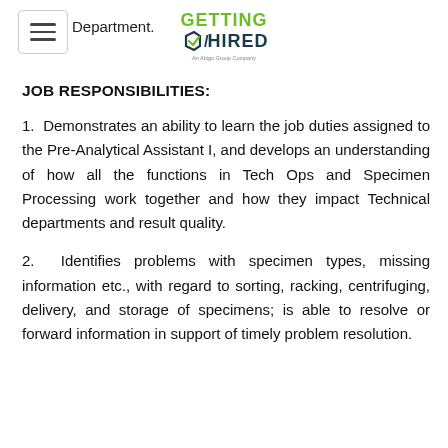Department. Getting Hired - An Abigo Group Company
JOB RESPONSIBILITIES:
1. Demonstrates an ability to learn the job duties assigned to the Pre-Analytical Assistant I, and develops an understanding of how all the functions in Tech Ops and Specimen Processing work together and how they impact Technical departments and result quality.
2. Identifies problems with specimen types, missing information etc., with regard to sorting, racking, centrifuging, delivery, and storage of specimens; is able to resolve or forward information in support of timely problem resolution.